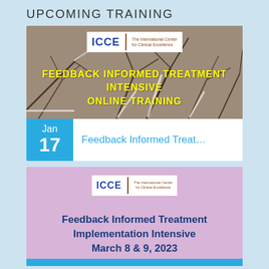UPCOMING TRAINING
[Figure (infographic): Training event card for Feedback Informed Treatment Intensive Online Training by ICCE (International Center for Clinical Excellence). Shows winter branch background with yellow bold text overlay. Date box shows Jan 17 in cyan. Event title reads 'Feedback Informed Treat...' in cyan text.]
[Figure (infographic): Training event card for Feedback Informed Treatment Implementation Intensive, March 8 & 9, 2023, by ICCE. Purple/lavender background with ICCE logo at top. Bold dark blue text for event title and date.]